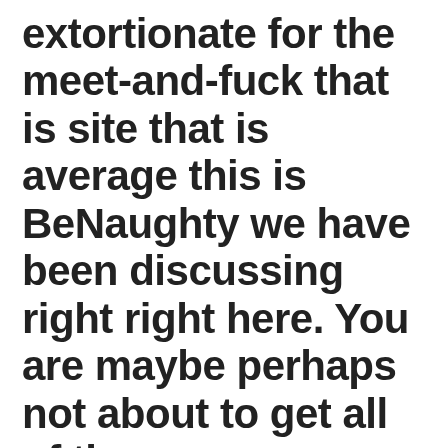This rates is not extortionate for the meet-and-fuck that is site that is average this is BeNaughty we have been discussing right right here. You are maybe perhaps not about to get all of the